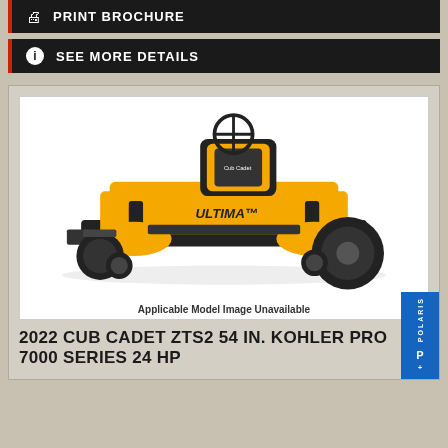PRINT BROCHURE
SEE MORE DETAILS
[Figure (photo): Yellow and black Cub Cadet ZTS2 zero-turn mower with ULTIMA branding, shown at 3/4 front angle. Text overlay reads 'Applicable Model Image Unavailable'.]
Applicable Model Image Unavailable
2022 CUB CADET ZTS2 54 IN. KOHLER PRO 7000 SERIES 24 HP